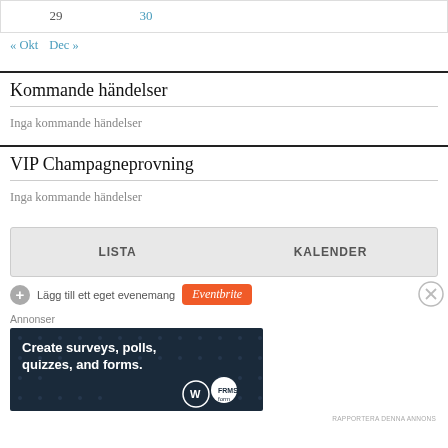| 29 | 30 |
| --- | --- |
« Okt   Dec »
Kommande händelser
Inga kommande händelser
VIP Champagneprovning
Inga kommande händelser
LISTA   KALENDER
Lägg till ett eget evenemang  Eventbrite
Annonser
[Figure (screenshot): Advertisement banner: 'Create surveys, polls, quizzes, and forms.' with WordPress and FormidableForms logos on dark blue background]